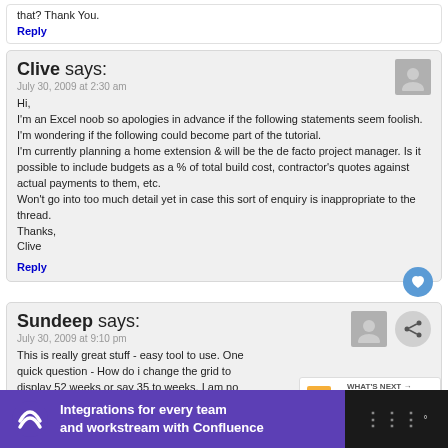that? Thank You.
Reply
Clive says:
July 30, 2009 at 2:30 am
Hi,
I'm an Excel noob so apologies in advance if the following statements seem foolish. I'm wondering if the following could become part of the tutorial.
I'm currently planning a home extension & will be the de facto project manager. Is it possible to include budgets as a % of total build cost, contractor's quotes against actual payments to them, etc.
Won't go into too much detail yet in case this sort of enquiry is inappropriate to the thread.
Thanks,
Clive
Reply
Sundeep says:
July 30, 2009 at 9:10 pm
This is really great stuff - easy tool to use. One quick question - How do i change the grid to display 52 weeks or say 35 to weeks. I am no excel guru so any help is welcome.
Reply
WHAT'S NEXT → Advanced Excel Skills ...
Integrations for every team and workstream with Confluence